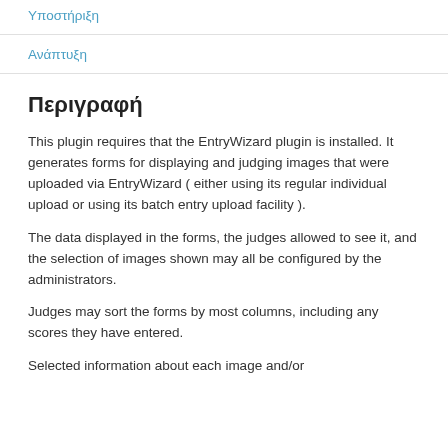Υποστήριξη
Ανάπτυξη
Περιγραφή
This plugin requires that the EntryWizard plugin is installed. It generates forms for displaying and judging images that were uploaded via EntryWizard ( either using its regular individual upload or using its batch entry upload facility ).
The data displayed in the forms, the judges allowed to see it, and the selection of images shown may all be configured by the administrators.
Judges may sort the forms by most columns, including any scores they have entered.
Selected information about each image and/or